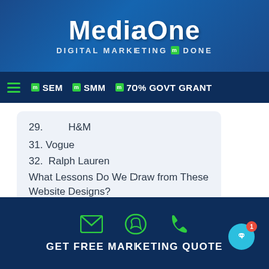MediaOne — DIGITAL MARKETING M DONE
SEM  SMM  70% GOVT GRANT
29.   H&M
31. Vogue
32.  Ralph Lauren
What Lessons Do We Draw from These Website Designs?
As you would probably know, building a website is no easy task. It requires lots of hard work and endless hours of dedication before you potentially get to see the fruits of your labour.
GET FREE MARKETING QUOTE